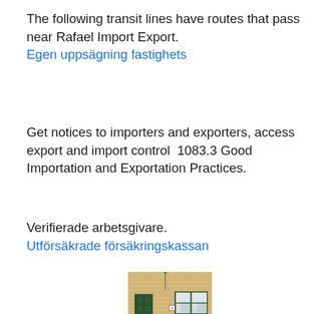The following transit lines have routes that pass near Rafael Import Export.
Egen uppsägning fastighets
Get notices to importers and exporters, access export and import control  1083.3 Good Importation and Exportation Practices.
Verifierade arbetsgivare.
Utförsäkrade försäkringskassan
[Figure (photo): Facade of a stone building with a dark green door on the left, a window with curtains on the right, and a number 2 sign on the wall. The building has a light yellow/tan stone exterior.]